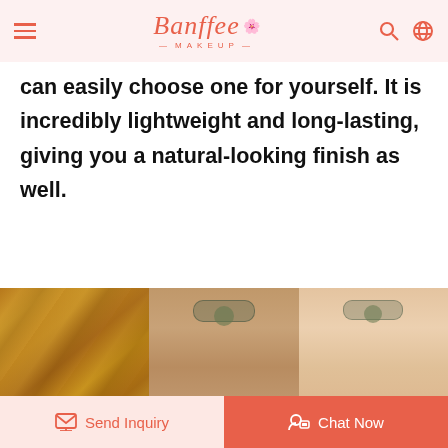Banffee MAKEUP
can easily choose one for yourself. It is incredibly lightweight and long-lasting, giving you a natural-looking finish as well.
[Figure (photo): Three-panel image: left panel shows close-up of foundation/makeup product swatches in warm tan tones; center panel shows a face before makeup application with visible skin imperfections; right panel shows the same face after makeup with smoother, more even complexion.]
Send Inquiry | Chat Now